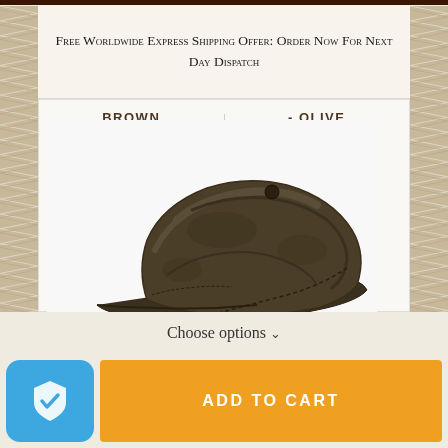Free Worldwide Express Shipping Offer: Order Now For Next Day Dispatch
BROWN
- OLIVE
£50.68
£42.22
[Figure (photo): Dark olive/brown waxed flat cap hat on white background]
Choose options ˅
ADD TO CART